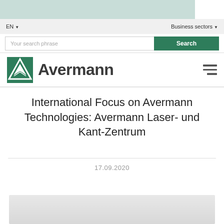EN | Business sectors
Your search phrase | Search
[Figure (logo): Avermann company logo with green diamond/triangle icon and bold 'Avermann' text]
International Focus on Avermann Technologies: Avermann Laser- und Kant-Zentrum
17.09.2020
[Figure (photo): Bottom image partially visible, appears to be a product or facility photo with light gray background]